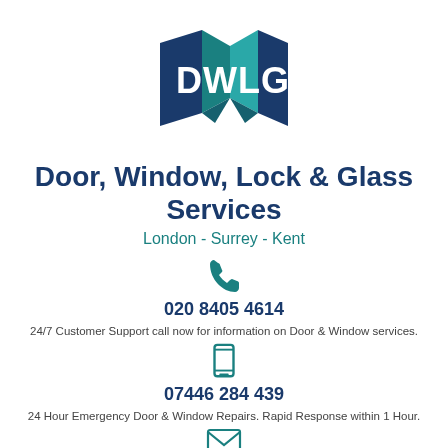[Figure (logo): DWLG logo — geometric map/diamond shapes in teal and dark blue with white letters DWLG]
Door, Window, Lock & Glass Services
London - Surrey - Kent
[Figure (illustration): Teal phone handset icon]
020 8405 4614
24/7 Customer Support call now for information on Door & Window services.
[Figure (illustration): Teal mobile phone icon]
07446 284 439
24 Hour Emergency Door & Window Repairs. Rapid Response within 1 Hour.
[Figure (illustration): Teal envelope/email icon]
admin@dwlg.co.uk